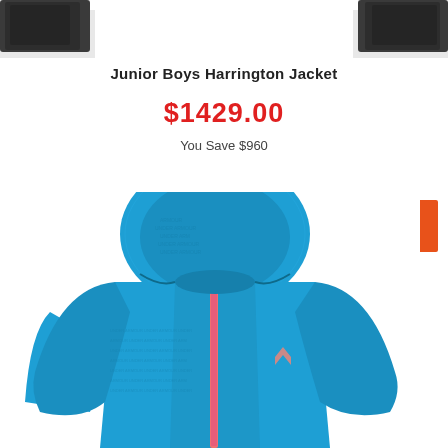[Figure (photo): Top portion of dark/black jacket visible at top corners of page]
Junior Boys Harrington Jacket
$1429.00
You Save $960
40%
[Figure (photo): Blue Under Armour hoodie jacket with pink zipper and Under Armour logo, displayed on white background]